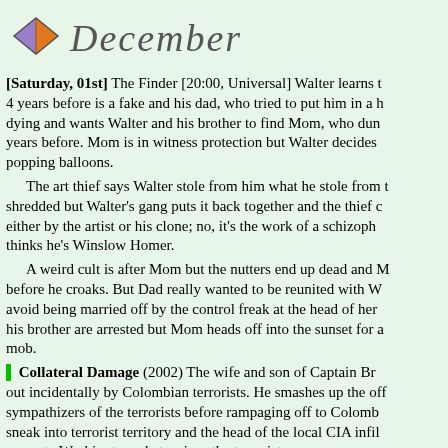December
[Saturday, 01st] The Finder [20:00, Universal] Walter learns that the ID he got 4 years before is a fake and his dad, who tried to put him in a home, is now dying and wants Walter and his brother to find Mom, who dumped them 30 years before. Mom is in witness protection but Walter decides to find her by popping balloons.
    The art thief says Walter stole from him what he stole from the thief, a picture shredded but Walter's gang puts it back together and the thief claims it was painted either by the artist or his clone; no, it's the work of a schizophrenic artist who thinks he's Winslow Homer.
    A weird cult is after Mom but the nutters end up dead and Mom finds Dad before he croaks. But Dad really wanted to be reunited with Walter's Mom to avoid being married off by the control freak at the head of her cult. Walter and his brother are arrested but Mom heads off into the sunset for a new life with the mob.
 Collateral Damage (2002) The wife and son of Captain Brewer are wiped out incidentally by Colombian terrorists. He smashes up the office of American sympathizers of the terrorists before rampaging off to Colombia. He manages to sneak into terrorist territory and the head of the local CIA infiltration team tries to prove to Washington what swines the terrorists are.
    Brewer is arrested by the Colombian police but the terrorists...